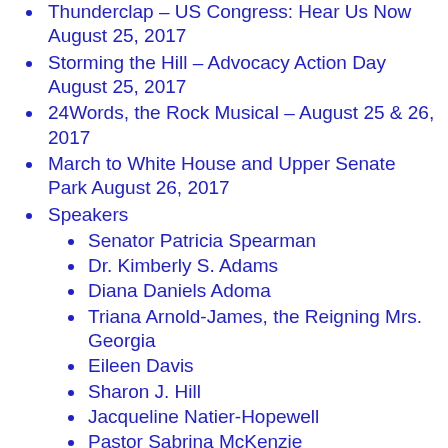Thunderclap – US Congress: Hear Us Now August 25, 2017
Storming the Hill – Advocacy Action Day August 25, 2017
24Words, the Rock Musical – August 25 & 26, 2017
March to White House and Upper Senate Park August 26, 2017
Speakers
Senator Patricia Spearman
Dr. Kimberly S. Adams
Diana Daniels Adoma
Triana Arnold-James, the Reigning Mrs. Georgia
Eileen Davis
Sharon J. Hill
Jacqueline Natier-Hopewell
Pastor Sabrina McKenzie
Kamala Lopez